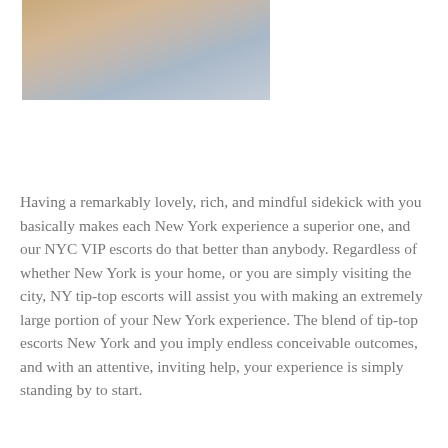[Figure (photo): A cropped photograph of a person in a blue/denim outfit, partially visible, sitting on a warm-toned background.]
Having a remarkably lovely, rich, and mindful sidekick with you basically makes each New York experience a superior one, and our NYC VIP escorts do that better than anybody. Regardless of whether New York is your home, or you are simply visiting the city, NY tip-top escorts will assist you with making an extremely large portion of your New York experience. The blend of tip-top escorts New York and you imply endless conceivable outcomes, and with an attentive, inviting help, your experience is simply standing by to start.